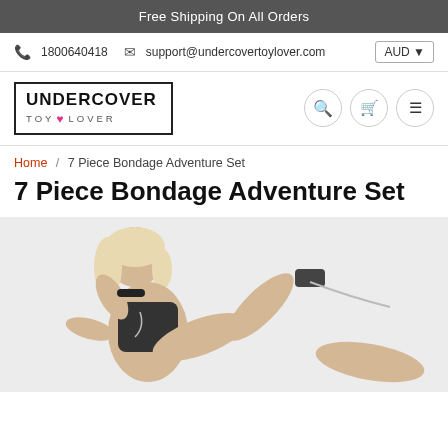Free Shipping On All Orders
1800640418   support@undercovertoylover.com   AUD
[Figure (logo): Undercover Toy Lover logo in a rectangular border]
Home / 7 Piece Bondage Adventure Set
7 Piece Bondage Adventure Set
[Figure (photo): Product photo of a woman posing with bondage set accessories]